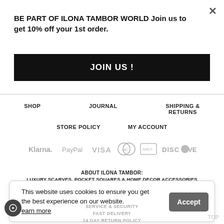BE PART OF ILONA TAMBOR WORLD Join us to get 10% off your 1st order.
JOIN US !
SHOP
JOURNAL
SHIPPING & RETURNS
STORE POLICY
MY ACCOUNT
[Figure (logo): Payment method logos: Klarna, PayPal, VISA, MasterCard, American Express, Discover]
ABOUT ILONA TAMBOR:
LUXURY SCARVES, POCKET SQUARES & HOME DECOR ACCESSORIES
EXPERTLY DESIGNED IN LEICESTER, UNITED KINGDOM.
PROUDLY MADE IN COMO ITALY FROM THE FINEST QUALITY FABRICS.
This website uses cookies to ensure you get the best experience on our website.
Learn more
Accept
SERVICE & SECURITY
FAST DELIVERY
14 DAY RETURN POLICY